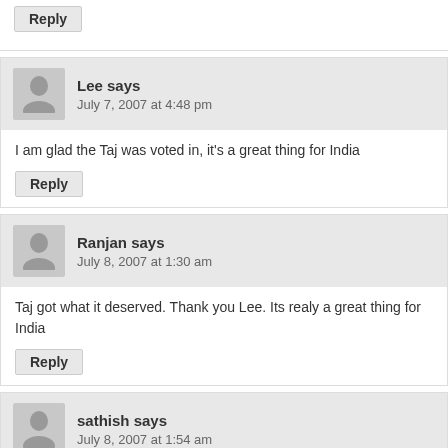Reply
Lee says
July 7, 2007 at 4:48 pm
I am glad the Taj was voted in, it's a great thing for India
Reply
Ranjan says
July 8, 2007 at 1:30 am
Taj got what it deserved. Thank you Lee. Its realy a great thing for India
Reply
sathish says
July 8, 2007 at 1:54 am
ALL of our dreams have come true Mr.Lee. TAJ is again the wonderful